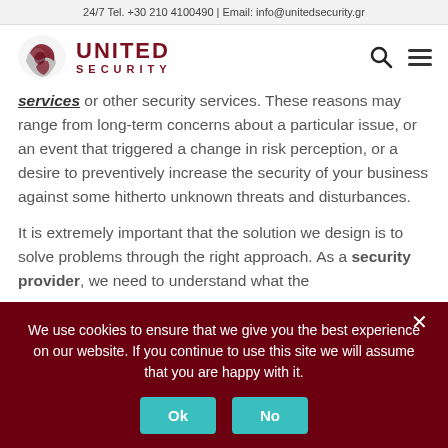24/7 Tel. +30 210 4100490 | Email: info@unitedsecurity.gr
[Figure (logo): United Security logo with shield/arrow icon and text UNITED SECURITY in dark red]
services or other security services. These reasons may range from long-term concerns about a particular issue, or an event that triggered a change in risk perception, or a desire to preventively increase the security of your business against some hitherto unknown threats and disturbances.
It is extremely important that the solution we design is to solve problems through the right approach. As a security provider, we need to understand what the
We use cookies to ensure that we give you the best experience on our website. If you continue to use this site we will assume that you are happy with it.